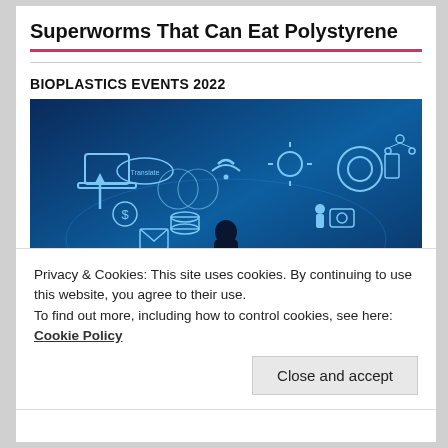Superworms That Can Eat Polystyrene
BIOPLASTICS EVENTS 2022
[Figure (photo): Banner image showing a silhouette of a person standing in front of a glowing blue digital world map with technology icons including laptop, gears, Wi-Fi, dollar sign, mail, and other digital concept symbols.]
Privacy & Cookies: This site uses cookies. By continuing to use this website, you agree to their use.
To find out more, including how to control cookies, see here: Cookie Policy
Close and accept